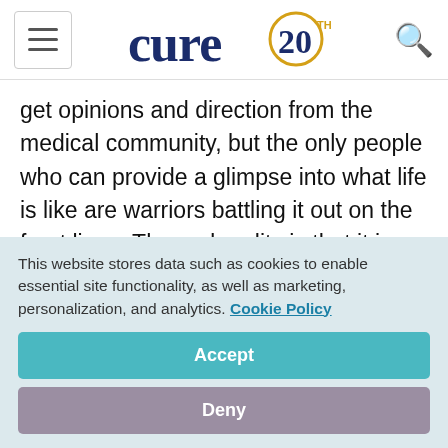CURE 20th Anniversary
get opinions and direction from the medical community, but the only people who can provide a glimpse into what life is like are warriors battling it out on the front lines. The sad reality is that it is rare for people with brain cancer to connect and find others like them. I live in Sacramento, the state capital of California, and the number of breast...
This website stores data such as cookies to enable essential site functionality, as well as marketing, personalization, and analytics. Cookie Policy
Accept
Deny